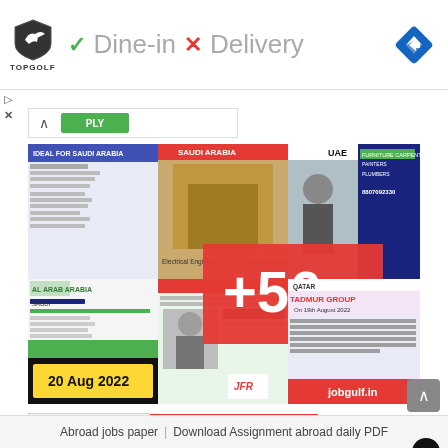[Figure (screenshot): Top advertisement banner: Topgolf logo with shield icon and brand name, green checkmark 'Dine-in', red X 'Delivery' text, blue navigation diamond icon on right]
[Figure (screenshot): Collapsed ad bar with caret-up and green button]
[Figure (screenshot): Composite image collage of overseas job advertisements including Saudi Arabia, UAE, Qatar, Tadmur Group postings dated 20 Aug 2022, with red overlay showing '+56' and jobgulf.in branding]
Abroad Assignment
Overseas employment news
Abroad jobs paper – 20 Aug PDF Download
August
[Figure (screenshot): Bottom advertisement: truck/logistics image on left, 'DRIVING BUSINESS COAST TO COAST' text with GET QUOTE red button on right, with ad icons]
Abroad jobs paper | Download Assignment abroad daily PDF